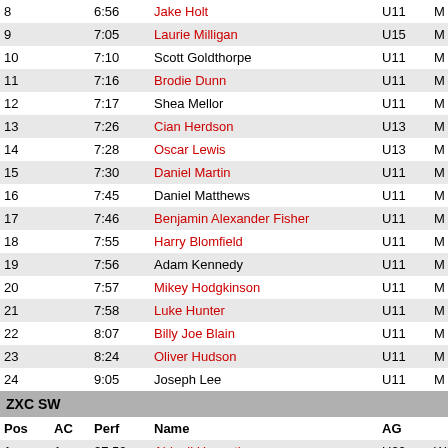| Pos | AC | Perf | Name | AG |  | Ye |
| --- | --- | --- | --- | --- | --- | --- |
| 8 |  | 6:56 | Jake Holt | U11 | M | 1 |
| 9 |  | 7:05 | Laurie Milligan | U15 | M | 1 |
| 10 |  | 7:10 | Scott Goldthorpe | U11 | M |  |
| 11 |  | 7:16 | Brodie Dunn | U11 | M |  |
| 12 |  | 7:17 | Shea Mellor | U11 | M |  |
| 13 |  | 7:26 | Cian Herdson | U13 | M | 1 |
| 14 |  | 7:28 | Oscar Lewis | U13 | M | 1 |
| 15 |  | 7:30 | Daniel Martin | U11 | M | 1 |
| 16 |  | 7:45 | Daniel Matthews | U11 | M |  |
| 17 |  | 7:46 | Benjamin Alexander Fisher | U11 | M | 1 |
| 18 |  | 7:55 | Harry Blomfield | U11 | M | 1 |
| 19 |  | 7:56 | Adam Kennedy | U11 | M |  |
| 20 |  | 7:57 | Mikey Hodgkinson | U11 | M | 1 |
| 21 |  | 7:58 | Luke Hunter | U11 | M | 1 |
| 22 |  | 8:07 | Billy Joe Blain | U11 | M | 1 |
| 23 |  | 8:24 | Oliver Hudson | U11 | M | 1 |
| 24 |  | 9:05 | Joseph Lee | U11 | M |  |
ZXC SW
| Pos | AC | Perf | Name | AG |  | Ye |
| --- | --- | --- | --- | --- | --- | --- |
| 1 | 1 | 27:52 | Abigail Howarth | U20 | W |  |
| 2 | 1 | 29:06 | Katie Geelan | V35 | W |  |
| 3 |  | 29:21 | Holly Gartside | SEN | W |  |
| 4 | 1 | 29:25 | Kirsty White | V40 | W |  |